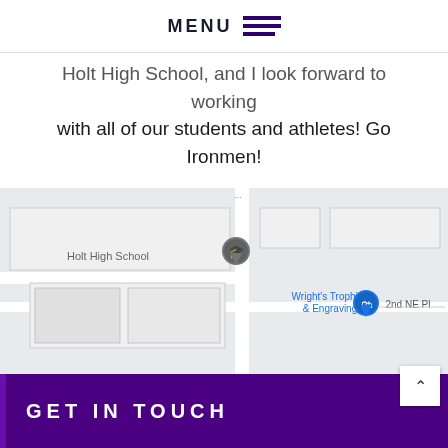MENU
Holt High School, and I look forward to working with all of our students and athletes! Go Ironmen!
[Figure (map): Google Maps embed showing Holt High School location, with a pin marker on the school and Wright's Trophies & Engraving nearby, 2nd NE Pl street visible]
GET IN TOUCH